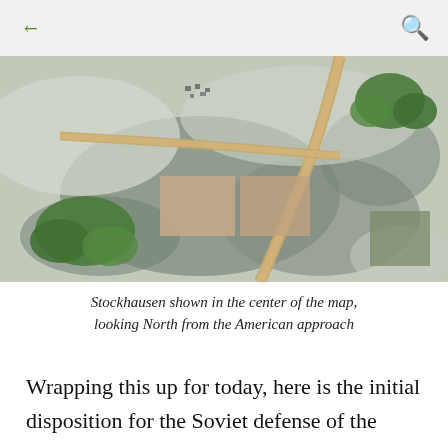← (back) | 🔍 (search)
[Figure (photo): Aerial overhead view of a wargame tabletop map showing the village of Stockhausen in the center, with roads, terrain features including green trees/foliage, grey rocky/dusty ground, and tan building footprints. A road curves through the center. Looking North from the American approach direction.]
Stockhausen shown in the center of the map, looking North from the American approach
Wrapping this up for today, here is the initial disposition for the Soviet defense of the valley. With my rule set only Scout units and BN HQs stands are placed on the table initially. Combat